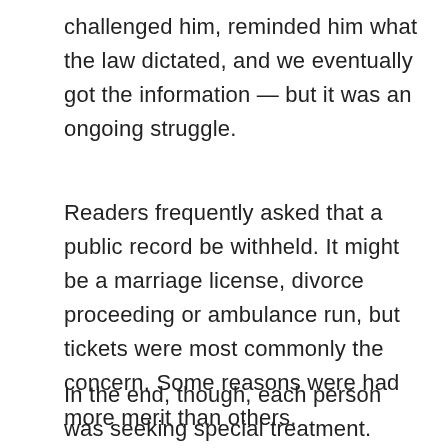challenged him, reminded him what the law dictated, and we eventually got the information — but it was an ongoing struggle.
Readers frequently asked that a public record be withheld. It might be a marriage license, divorce proceeding or ambulance run, but tickets were most commonly the concern. Some reasons were had more merit than others.
In the end, though, each person was seeking special treatment. Each was asking the